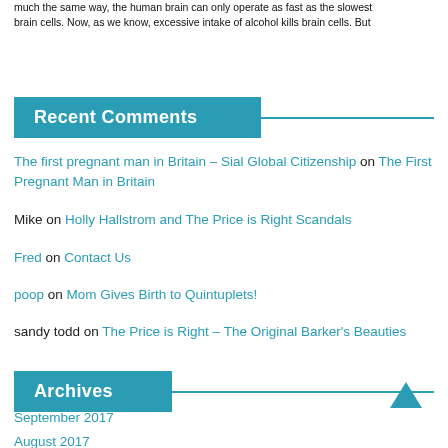much the same way, the human brain can only operate as fast as the slowest brain cells. Now, as we know, excessive intake of alcohol kills brain cells. But
Recent Comments
The first pregnant man in Britain – Sial Global Citizenship on The First Pregnant Man in Britain
Mike on Holly Hallstrom and The Price is Right Scandals
Fred on Contact Us
poop on Mom Gives Birth to Quintuplets!
sandy todd on The Price is Right – The Original Barker's Beauties
Archives
September 2017
August 2017